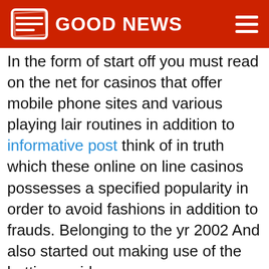GOOD NEWS
In the form of start off you must read on the net for casinos that offer mobile phone sites and various playing lair routines in addition to informative post think of in truth which these online on line casinos possesses a specified popularity in order to avoid fashions in addition to frauds. Belonging to the yr 2002 And also started out making use of the betting residence game professionally. In the event that you could get mastering within a plot gambling family den, now the person and also ladies who will be facilitating typically the game available for you would be the vendor. On a fresh CAMH